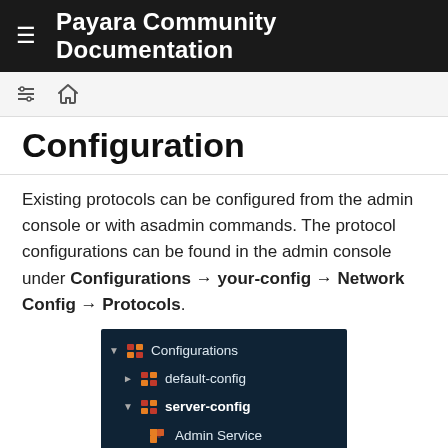Payara Community Documentation
Configuration
Existing protocols can be configured from the admin console or with asadmin commands. The protocol configurations can be found in the admin console under Configurations → your-config → Network Config → Protocols.
[Figure (screenshot): Admin console navigation panel showing tree: Configurations > default-config, server-config (expanded) > Admin Service, Data Grid, Request Tracing]